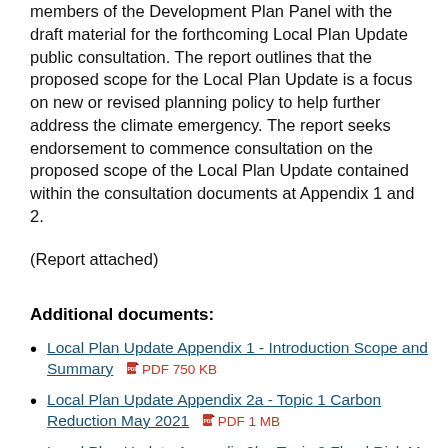members of the Development Plan Panel with the draft material for the forthcoming Local Plan Update public consultation. The report outlines that the proposed scope for the Local Plan Update is a focus on new or revised planning policy to help further address the climate emergency. The report seeks endorsement to commence consultation on the proposed scope of the Local Plan Update contained within the consultation documents at Appendix 1 and 2.
(Report attached)
Additional documents:
Local Plan Update Appendix 1 - Introduction Scope and Summary  PDF 750 KB
Local Plan Update Appendix 2a - Topic 1 Carbon Reduction May 2021  PDF 1 MB
Local Plan Update Appendix 2b - Topic 2 Flood Risk May 2021  PDF 887 KB